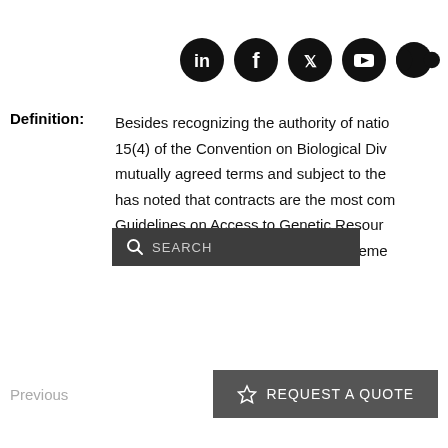[Figure (other): Row of social media icons: LinkedIn, Facebook, Twitter, YouTube, Medium]
Definition: Besides recognizing the authority of natio... 15(4) of the Convention on Biological Div... mutually agreed terms and subject to the ... has noted that contracts are the most com... Guidelines on Access to Genetic Resour... Utilization indicate some basic requireme...
[Figure (screenshot): Search overlay bar with magnifying glass icon and SEARCH text on dark background]
Previous
REQUEST A QUOTE